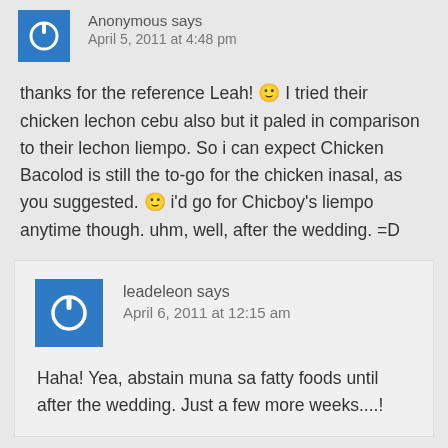Anonymous says
April 5, 2011 at 4:48 pm
thanks for the reference Leah! 🙂 I tried their chicken lechon cebu also but it paled in comparison to their lechon liempo. So i can expect Chicken Bacolod is still the to-go for the chicken inasal, as you suggested. 🙂 i'd go for Chicboy's liempo anytime though. uhm, well, after the wedding. =D
leadeleon says
April 6, 2011 at 12:15 am
Haha! Yea, abstain muna sa fatty foods until after the wedding. Just a few more weeks....!